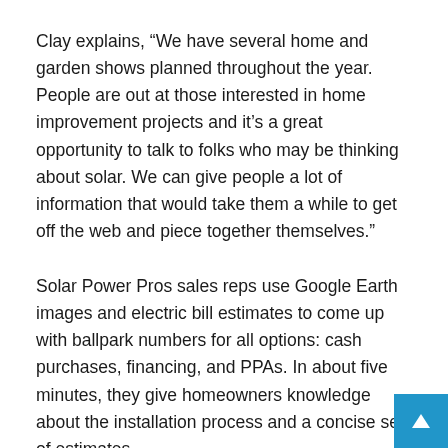Clay explains, “We have several home and garden shows planned throughout the year. People are out at those interested in home improvement projects and it’s a great opportunity to talk to folks who may be thinking about solar. We can give people a lot of information that would take them a while to get off the web and piece together themselves.”
Solar Power Pros sales reps use Google Earth images and electric bill estimates to come up with ballpark numbers for all options: cash purchases, financing, and PPAs. In about five minutes, they give homeowners knowledge about the installation process and a concise set of estimates.
The other main marketing focus is on an informative web presence. Clay says, “We use social media. We also want to provide a website that is ultimately something for somebody t…